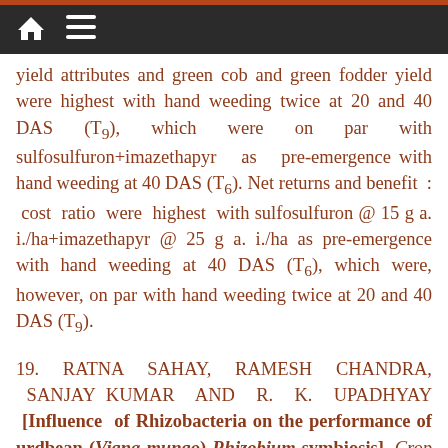yield attributes and green cob and green fodder yield were highest with hand weeding twice at 20 and 40 DAS (T9), which were on par with sulfosulfuron+imazethapyr as pre-emergence with hand weeding at 40 DAS (T6). Net returns and benefit : cost ratio were highest with sulfosulfuron @ 15 g a. i./ha+imazethapyr @ 25 g a. i./ha as pre-emergence with hand weeding at 40 DAS (T6), which were, however, on par with hand weeding twice at 20 and 40 DAS (T9).
19. RATNA SAHAY, RAMESH CHANDRA, SANJAY KUMAR AND R. K. UPADHYAY [Influence of Rhizobacteria on the performance of urdbean (Vigna mungo)-Rhizobium symbiosis]. Crop Res. 42 (1, 2 & 3) : 90-93 (2011). Department of Soil Science, G. B. Pant University of Agriculture &